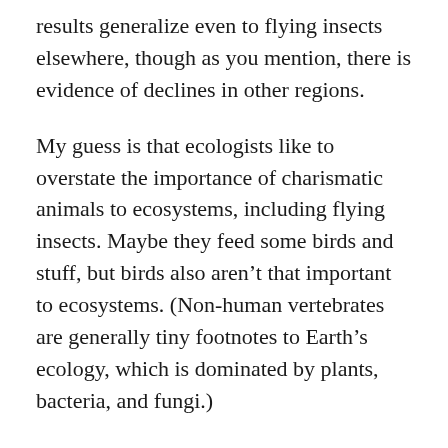results generalize even to flying insects elsewhere, though as you mention, there is evidence of declines in other regions.
My guess is that ecologists like to overstate the importance of charismatic animals to ecosystems, including flying insects. Maybe they feed some birds and stuff, but birds also aren't that important to ecosystems. (Non-human vertebrates are generally tiny footnotes to Earth's ecology, which is dominated by plants, bacteria, and fungi.)
The paper “A Comparative Analysis of Soil Fauna Populations and Their Role in Decomposition Processes” says: “The soil fauna appears generally to be responsible for less than about 5% of total decomposer respiration” (p. 288). I assume that fungi/bacteria/actinomycetes/etc. account for most of it. In many composting operations, invertebrate